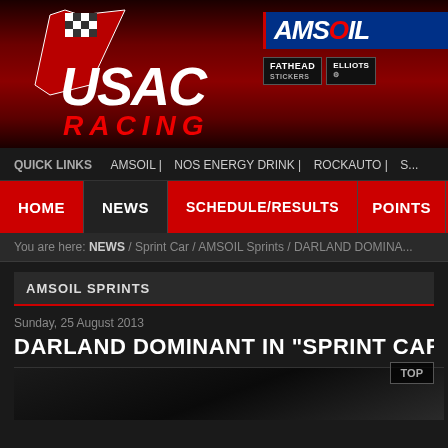[Figure (logo): USAC Racing logo with checkered flag on dark red banner background, with AMSOIL sponsor logo and sub-sponsor logos (Fathead, Elliotts) on the right side]
QUICK LINKS   AMSOIL |   NOS ENERGY DRINK |   ROCKAUTO |   S...
HOME   NEWS   SCHEDULE/RESULTS   POINTS   MEDIA...
You are here: NEWS / Sprint Car / AMSOIL Sprints / DARLAND DOMINA...
AMSOIL SPRINTS
Sunday, 25 August 2013
DARLAND DOMINANT IN "SPRINT CAR SMACKDO...
[Figure (photo): Dark photo of a sprint car racing event, partially visible at bottom of page]